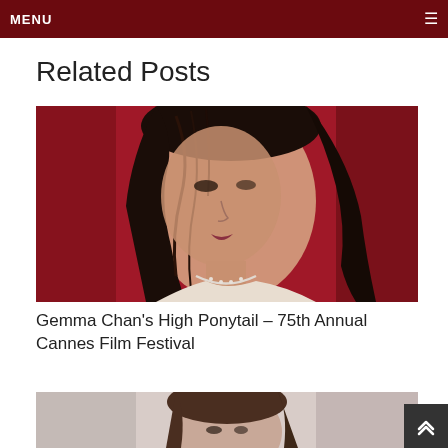MENU
Related Posts
[Figure (photo): Close-up photo of Gemma Chan with a high ponytail hairstyle at a red background event, wearing a diamond necklace, looking over her shoulder]
Gemma Chan's High Ponytail – 75th Annual Cannes Film Festival
[Figure (photo): Partial photo of a woman with brown hair, appears to be at a formal event, bottom of image cropped]